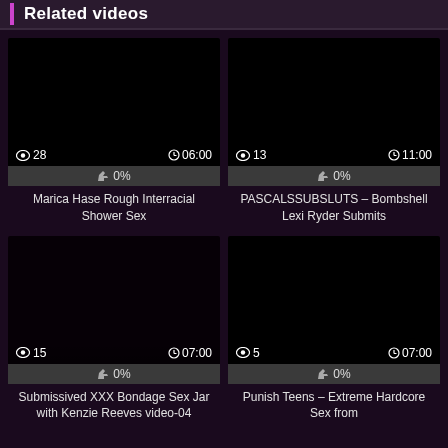Related videos
[Figure (screenshot): Video thumbnail - dark/black image, views: 28, duration: 06:00, rating: 0%]
Marica Hase Rough Interracial Shower Sex
[Figure (screenshot): Video thumbnail - dark/black image, views: 13, duration: 11:00, rating: 0%]
PASCALSSUBSLUTS – Bombshell Lexi Ryder Submits
[Figure (screenshot): Video thumbnail - dark/black image, views: 15, duration: 07:00, rating: 0%]
Submissived XXX Bondage Sex Jar with Kenzie Reeves video-04
[Figure (screenshot): Video thumbnail - dark/black image, views: 5, duration: 07:00, rating: 0%]
Punish Teens – Extreme Hardcore Sex from